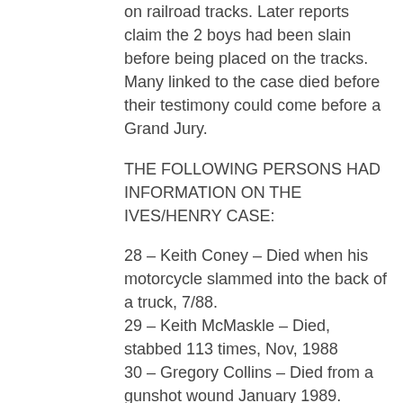on railroad tracks. Later reports claim the 2 boys had been slain before being placed on the tracks. Many linked to the case died before their testimony could come before a Grand Jury.
THE FOLLOWING PERSONS HAD INFORMATION ON THE IVES/HENRY CASE:
28 – Keith Coney – Died when his motorcycle slammed into the back of a truck, 7/88.
29 – Keith McMaskle – Died, stabbed 113 times, Nov, 1988
30 – Gregory Collins – Died from a gunshot wound January 1989.
31 – Jeff Rhodes – He was shot, mutilated and found burned in a trash dump in April 1989.